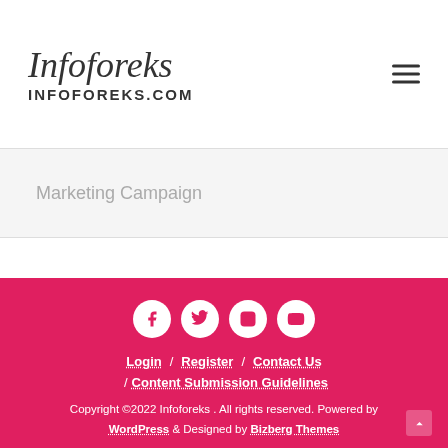Infoforeks INFOFOREKS.COM
Marketing Campaign
Login / Register / Contact Us / Content Submission Guidelines
Copyright ©2022 Infoforeks . All rights reserved. Powered by WordPress & Designed by Bizberg Themes